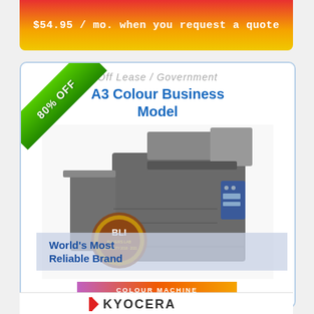$54.95 / mo. when you request a quote
80% OFF
Off Lease / Government
A3 Colour Business Model
[Figure (photo): A3 colour multifunction printer/copier with document feeder and finisher, BLI Buyers Lab Reliability 2018-2021 badge visible]
World's Most Reliable Brand
COLOUR MACHINE
[Figure (logo): Kyocera logo (partially visible at bottom)]